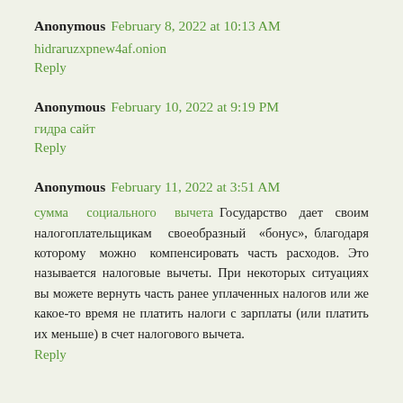Anonymous  February 8, 2022 at 10:13 AM
hidraruzxpnew4af.onion
Reply
Anonymous  February 10, 2022 at 9:19 PM
гидра сайт
Reply
Anonymous  February 11, 2022 at 3:51 AM
сумма социального вычета Государство дает своим налогоплательщикам своеобразный «бонус», благодаря которому можно компенсировать часть расходов. Это называется налоговые вычеты. При некоторых ситуациях вы можете вернуть часть ранее уплаченных налогов или же какое-то время не платить налоги с зарплаты (или платить их меньше) в счет налогового вычета.
Reply